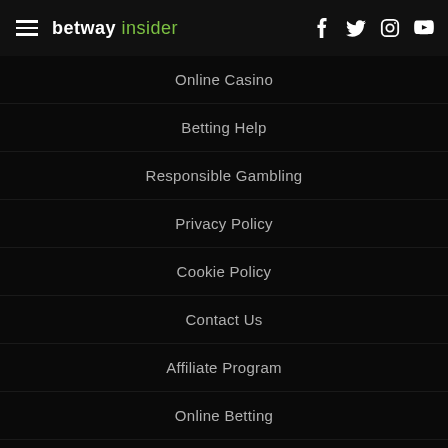betway insider
Online Casino
Betting Help
Responsible Gambling
Privacy Policy
Cookie Policy
Contact Us
Affiliate Program
Online Betting
Football Betting